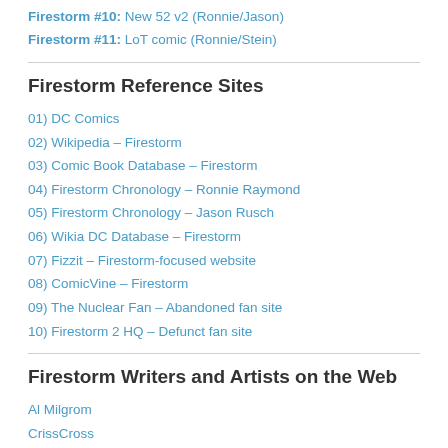Firestorm #10: New 52 v2 (Ronnie/Jason)
Firestorm #11: LoT comic (Ronnie/Stein)
Firestorm Reference Sites
01) DC Comics
02) Wikipedia – Firestorm
03) Comic Book Database – Firestorm
04) Firestorm Chronology – Ronnie Raymond
05) Firestorm Chronology – Jason Rusch
06) Wikia DC Database – Firestorm
07) Fizzit – Firestorm-focused website
08) ComicVine – Firestorm
09) The Nuclear Fan – Abandoned fan site
10) Firestorm 2 HQ – Defunct fan site
Firestorm Writers and Artists on the Web
Al Milgrom
CrissCross
Dan Jolley
Dan Jurgens – Facebook
Dan Jurgens – Twitter